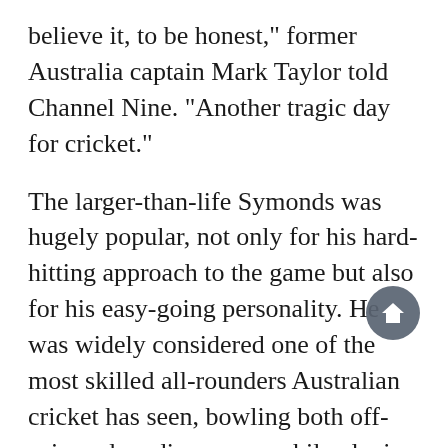believe it, to be honest," former Australia captain Mark Taylor told Channel Nine. "Another tragic day for cricket."
The larger-than-life Symonds was hugely popular, not only for his hard-hitting approach to the game but also for his easy-going personality. He was widely considered one of the most skilled all-rounders Australian cricket has seen, bowling both off-spin and medium pace, while playing many match-winning hands with his explosive middle-order batting.
Symonds was also a top-rate fielder and was a key part of Australia's back-to-back 50-over World Cup triumphs in 2003 and 2007.